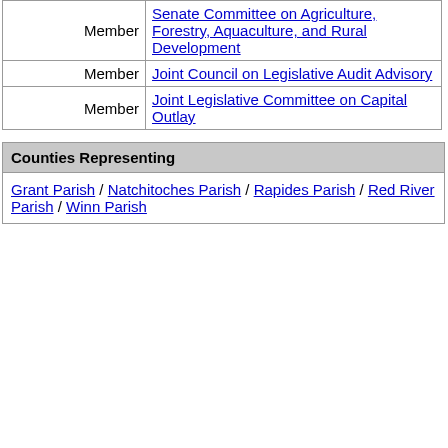| Role | Committee |
| --- | --- |
| Member | Senate Committee on Agriculture, Forestry, Aquaculture, and Rural Development |
| Member | Joint Council on Legislative Audit Advisory |
| Member | Joint Legislative Committee on Capital Outlay |
Counties Representing
Grant Parish / Natchitoches Parish / Rapides Parish / Red River Parish / Winn Parish